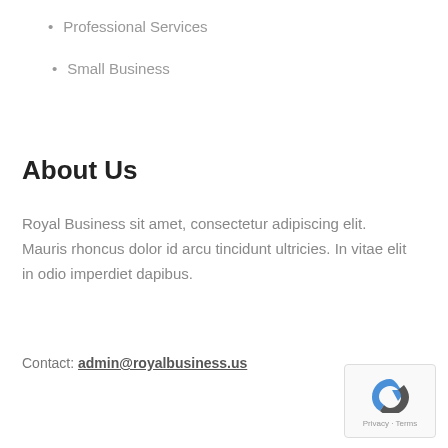Professional Services
Small Business
About Us
Royal Business sit amet, consectetur adipiscing elit. Mauris rhoncus dolor id arcu tincidunt ultricies. In vitae elit in odio imperdiet dapibus.
Contact: admin@royalbusiness.us